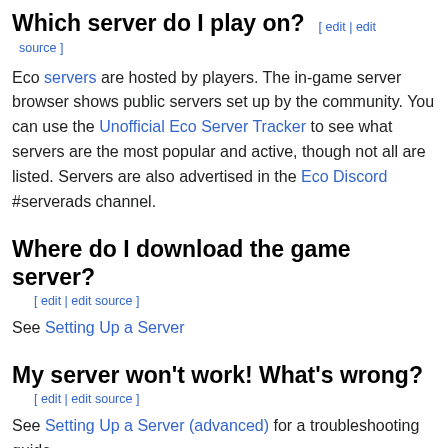Which server do I play on? [ edit | edit source ]
Eco servers are hosted by players. The in-game server browser shows public servers set up by the community. You can use the Unofficial Eco Server Tracker to see what servers are the most popular and active, though not all are listed. Servers are also advertised in the Eco Discord #serverads channel.
Where do I download the game server? [ edit | edit source ]
See Setting Up a Server
My server won't work! What's wrong? [ edit | edit source ]
See Setting Up a Server (advanced) for a troubleshooting guide.